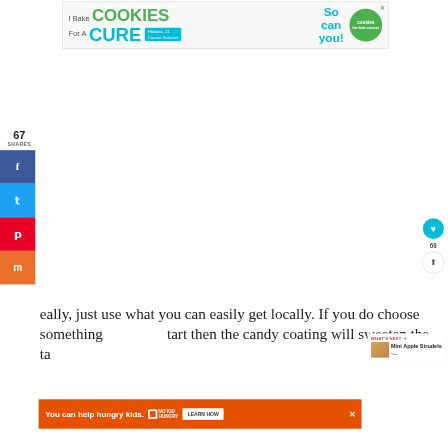[Figure (other): Advertisement banner: 'I Bake COOKIES For A CURE - Haldora, 11 Cancer Survivor - So can you! cookies for kids cancer']
67
SHARES
[Figure (other): Social sharing sidebar with Facebook (f), Twitter (bird), Pinterest (p), and Mix (m) buttons]
[Figure (other): Heart/like button showing 68 likes, and a share icon button]
eally, just use what you can easily get locally. If you do choose something tart then the candy coating will sweeten the ta
[Figure (other): WHAT'S NEXT → Mini Apple Strudels -... with thumbnail image]
[Figure (other): Advertisement: 'You can help hungry kids. NO KID HUNGRY LEARN HOW' with close button]